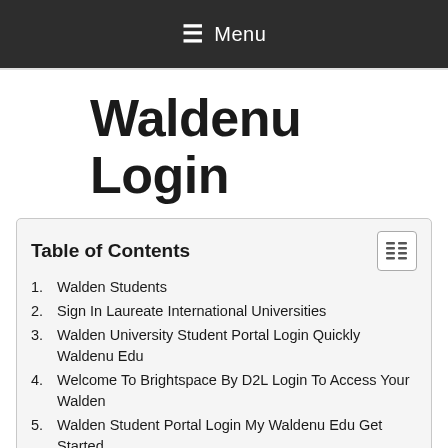≡ Menu
Waldenu Login
Table of Contents
1. Walden Students
2. Sign In Laureate International Universities
3. Walden University Student Portal Login Quickly Waldenu Edu
4. Welcome To Brightspace By D2L Login To Access Your Walden
5. Walden Student Portal Login My Waldenu Edu Get Started
6. MyWalden Student Portal